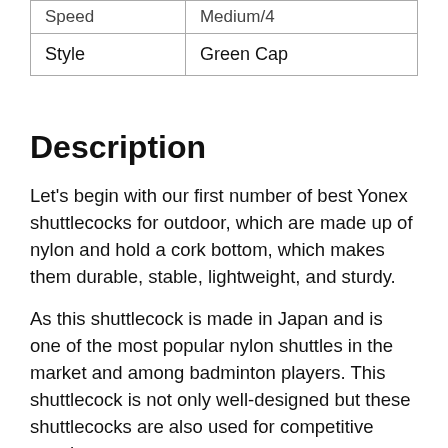| Speed | Medium/4 |
| Style | Green Cap |
Description
Let's begin with our first number of best Yonex shuttlecocks for outdoor, which are made up of nylon and hold a cork bottom, which makes them durable, stable, lightweight, and sturdy.
As this shuttlecock is made in Japan and is one of the most popular nylon shuttles in the market and among badminton players. This shuttlecock is not only well-designed but these shuttlecocks are also used for competitive matches, or tournaments.